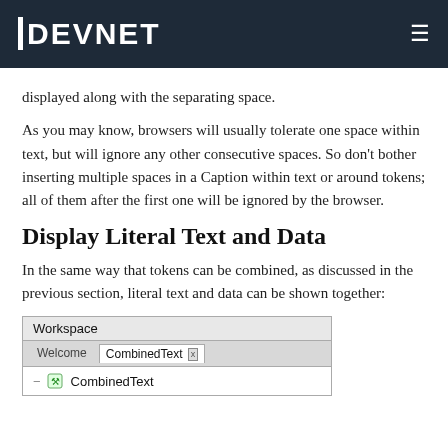DEVNET
displayed along with the separating space.
As you may know, browsers will usually tolerate one space within text, but will ignore any other consecutive spaces. So don't bother inserting multiple spaces in a Caption within text or around tokens; all of them after the first one will be ignored by the browser.
Display Literal Text and Data
In the same way that tokens can be combined, as discussed in the previous section, literal text and data can be shown together:
[Figure (screenshot): A Workspace panel screenshot showing tabs: Welcome and CombinedText (with x close button), and a tree item 'CombinedText' with an icon.]